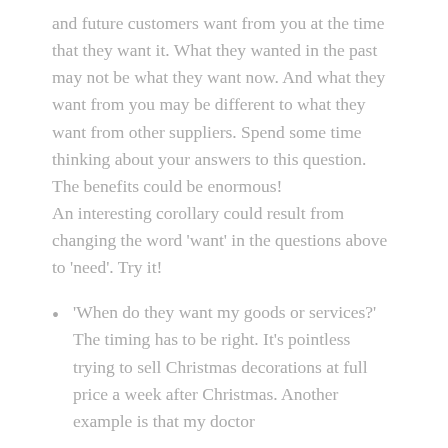and future customers want from you at the time that they want it.  What they wanted in the past may not be what they want now.  And what they want from you may be different to what they want from other suppliers.  Spend some time thinking about your answers to this question.  The benefits could be enormous! An interesting corollary could result from changing the word 'want' in the questions above to 'need'.  Try it!
'When do they want my goods or services?'  The timing has to be right.  It's pointless trying to sell Christmas decorations at full price a week after Christmas.  Another example is that my doctor